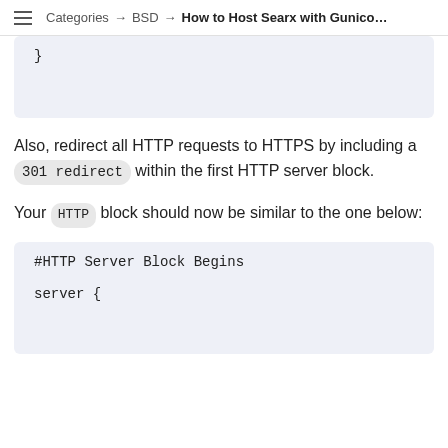Categories → BSD → How to Host Searx with Gunico…
}
Also, redirect all HTTP requests to HTTPS by including a 301 redirect within the first HTTP server block.
Your HTTP block should now be similar to the one below:
#HTTP Server Block Begins

server {